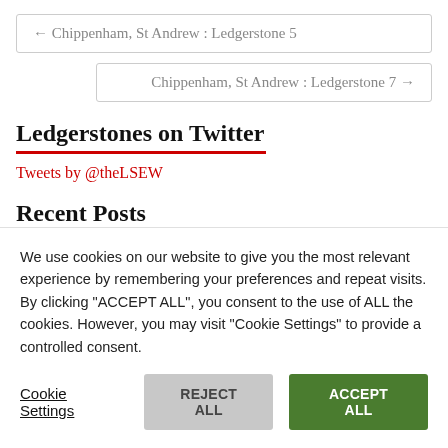← Chippenham, St Andrew : Ledgerstone 5
Chippenham, St Andrew : Ledgerstone 7 →
Ledgerstones on Twitter
Tweets by @theLSEW
Recent Posts
We use cookies on our website to give you the most relevant experience by remembering your preferences and repeat visits. By clicking "ACCEPT ALL", you consent to the use of ALL the cookies. However, you may visit "Cookie Settings" to provide a controlled consent.
Cookie Settings | REJECT ALL | ACCEPT ALL